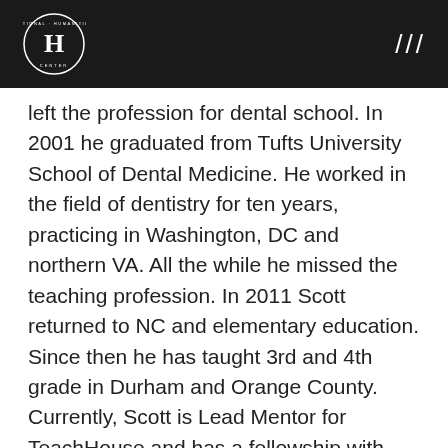National Humanities Center ///
left the profession for dental school. In 2001 he graduated from Tufts University School of Dental Medicine. He worked in the field of dentistry for ten years, practicing in Washington, DC and northern VA. All the while he missed the teaching profession. In 2011 Scott returned to NC and elementary education. Since then he has taught 3rd and 4th grade in Durham and Orange County. Currently, Scott is Lead Mentor for TeachHouse and has a fellowship with Duke University's Program in Education.
Carlee Forbes
[Figure (photo): Headshot photo of Carlee Forbes, a young woman with brown hair and glasses, smiling, in front of a brick wall background.]
Forbes is a PhD candidate in Art History at the University of North Carolina at Chapel Hill. Her research